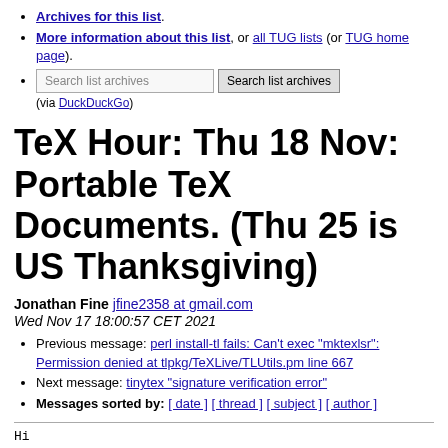Archives for this list.
More information about this list, or all TUG lists (or TUG home page).
Search list archives [input] Search list archives (via DuckDuckGo)
TeX Hour: Thu 18 Nov: Portable TeX Documents. (Thu 25 is US Thanksgiving)
Jonathan Fine jfine2358 at gmail.com
Wed Nov 17 18:00:57 CET 2021
Previous message: perl install-tl fails: Can't exec "mktexlsr": Permission denied at tlpkg/TeXLive/TLUtils.pm line 667
Next message: tinytex "signature verification error"
Messages sorted by: [ date ] [ thread ] [ subject ] [ author ]
Hi
I'm gathering projects for 2022. Last week I spoke